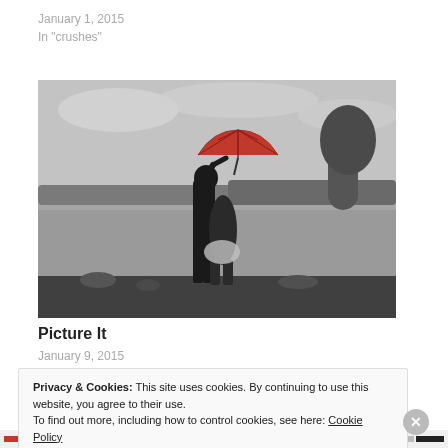January 1, 2015
In "crushes"
[Figure (photo): Black and white photo of a couple kissing under a bright red umbrella by a lake, with trees and overcast sky in the background.]
Picture It
January 9, 2015
Privacy & Cookies: This site uses cookies. By continuing to use this website, you agree to their use.
To find out more, including how to control cookies, see here: Cookie Policy
Close and accept